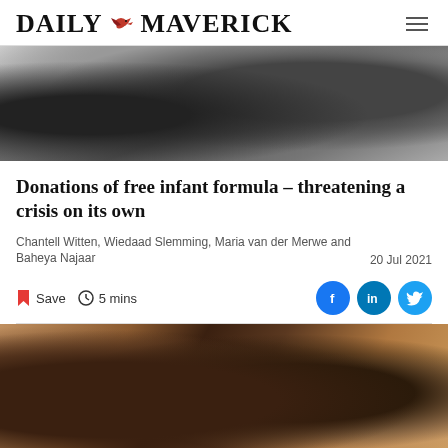DAILY MAVERICK
[Figure (photo): Black and white close-up photo, appears to show a medical or clinical scene]
Donations of free infant formula – threatening a crisis on its own
Chantell Witten, Wiedaad Slemming, Maria van der Merwe and Baheya Najaar
20 Jul 2021
Save  5 mins
[Figure (photo): Color photo of two women standing against a brick wall, appearing to look downward]